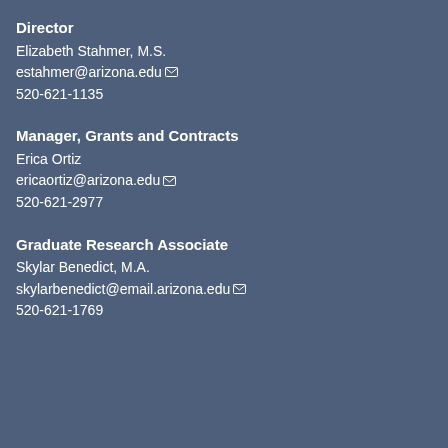Director
Elizabeth Stahmer, M.S.
estahmer@arizona.edu
520-621-1135
Manager, Grants and Contracts
Erica Ortiz
ericaortiz@arizona.edu
520-621-2977
Graduate Research Associate
Skylar Benedict, M.A.
skylarbenedict@email.arizona.edu
520-621-1769